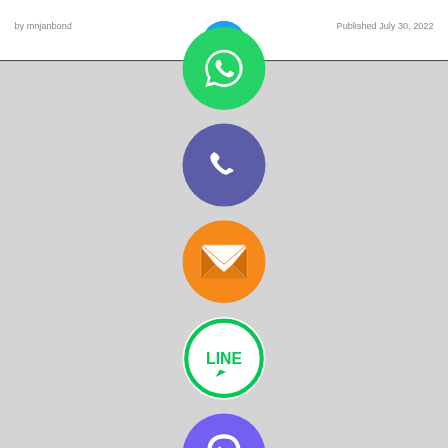[Figure (screenshot): Social media sharing buttons overlay: WhatsApp (green), Phone (purple), Email (orange), LINE (green outline), Viber (purple), and close X (green) circular icons stacked vertically in center of page. Top strip shows partial blog post header. Bottom shows UNCATEGORIZED label and article title beginning 'Homework Box...mentary Edition Product Analysis Report'.]
UNCATEGORIZED
Homework Box...mentary Edition Product Analysis Report